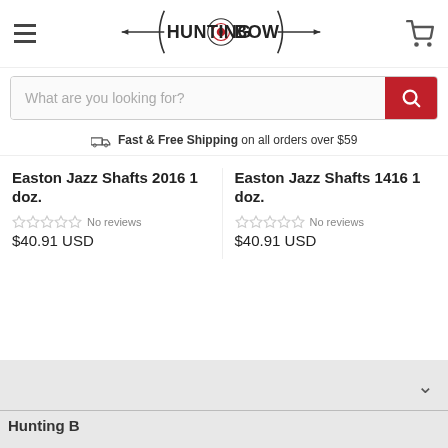[Figure (logo): Hunting-Bow logo with arrow and target design]
What are you looking for?
Fast & Free Shipping on all orders over $59
Easton Jazz Shafts 2016 1 doz.
No reviews
$40.91 USD
Easton Jazz Shafts 1416 1 doz.
No reviews
$40.91 USD
Hunting B...